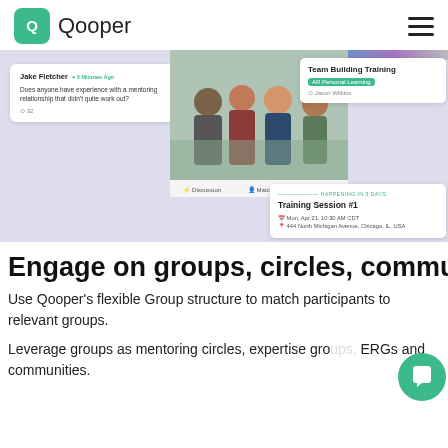Qooper
[Figure (screenshot): Screenshot of Qooper platform showing a discussion card from Jake Fletcher asking about mentoring relationships, a center photo of a team meeting, a Team Building Training card with AR/Personal Learning badge by Jason Wilkins, navigation tabs for Discussion, Matching, and Events, and a Training Session #1 card with Mon, Apr 21, 10:30 AM CDT at 444 North Michigan Avenue, Chicago, IL, USA]
Engage on groups, circles, communities
Use Qooper's flexible Group structure to match participants to relevant groups.
Leverage groups as mentoring circles, expertise gro ERGs and communities.